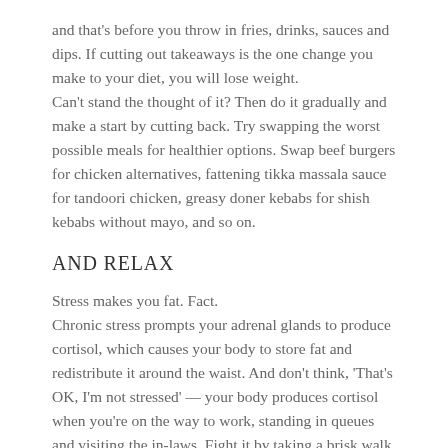and that's before you throw in fries, drinks, sauces and dips. If cutting out takeaways is the one change you make to your diet, you will lose weight. Can't stand the thought of it? Then do it gradually and make a start by cutting back. Try swapping the worst possible meals for healthier options. Swap beef burgers for chicken alternatives, fattening tikka massala sauce for tandoori chicken, greasy doner kebabs for shish kebabs without mayo, and so on.
AND RELAX
Stress makes you fat. Fact. Chronic stress prompts your adrenal glands to produce cortisol, which causes your body to store fat and redistribute it around the waist. And don't think, 'That's OK, I'm not stressed' — your body produces cortisol when you're on the way to work, standing in queues and visiting the in-laws. Fight it by taking a brisk walk three